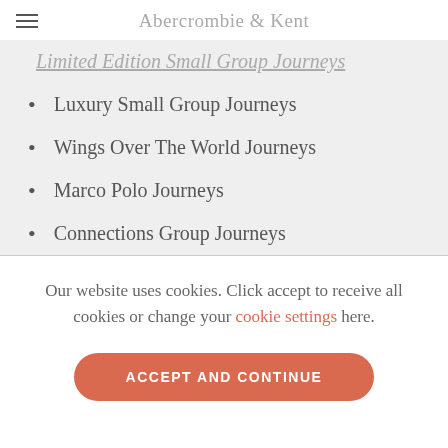Abercrombie & Kent
Limited Edition Small Group Journeys
Luxury Small Group Journeys
Wings Over The World Journeys
Marco Polo Journeys
Connections Group Journeys
Our website uses cookies. Click accept to receive all cookies or change your cookie settings here.
ACCEPT AND CONTINUE